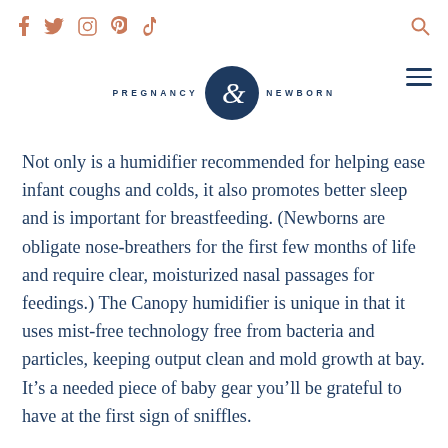f  y  [instagram]  p  [tiktok]  [search]
[Figure (logo): Pregnancy & Newborn magazine logo with dark navy circle containing ampersand, flanked by PREGNANCY and NEWBORN text in small caps]
Not only is a humidifier recommended for helping ease infant coughs and colds, it also promotes better sleep and is important for breastfeeding. (Newborns are obligate nose-breathers for the first few months of life and require clear, moisturized nasal passages for feedings.) The Canopy humidifier is unique in that it uses mist-free technology free from bacteria and particles, keeping output clean and mold growth at bay. It's a needed piece of baby gear you'll be grateful to have at the first sign of sniffles.